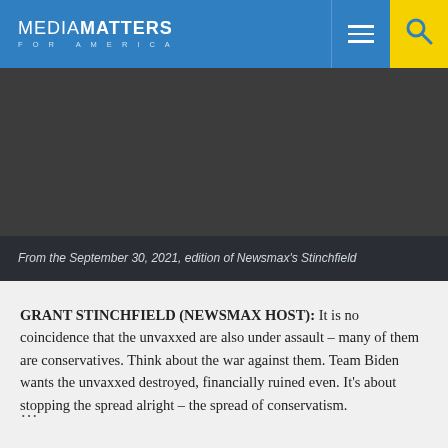MEDIA MATTERS FOR AMERICA
[Figure (screenshot): Dark gray video placeholder area for embedded video content]
From the September 30, 2021, edition of Newsmax’s Stinchfield
GRANT STINCHFIELD (NEWSMAX HOST): It is no coincidence that the unvaxxed are also under assault – many of them are conservatives. Think about the war against them. Team Biden wants the unvaxxed destroyed, financially ruined even. It’s about stopping the spread alright – the spread of conservatism.